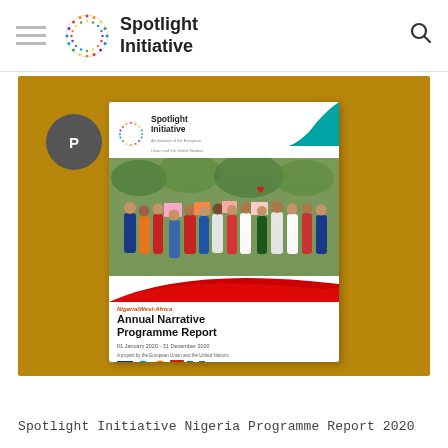Spotlight Initiative
[Figure (screenshot): Screenshot of a webpage showing the Spotlight Initiative website with a report cover image. The cover shows the Nigeria/West-Africa Annual Narrative Programme Report, 01 January 2020 - 31 December 2020, displayed on a golden/dark yellow background. A user avatar circle with letter P is in the top-left of the image.]
Spotlight Initiative Nigeria Programme Report 2020